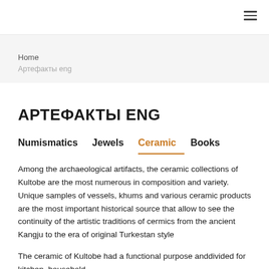Home
Артефакты eng
АРТЕФАКТЫ ENG
Numismatics   Jewels   Ceramic   Books
Among the archaeological artifacts, the ceramic collections of Kultobe are the most numerous in composition and variety. Unique samples of vessels, khums and various ceramic products are the most important historical source that allow to see the continuity of the artistic traditions of cermics from the ancient Kangju to the era of original Turkestan style
The ceramic of Kultobe had a functional purpose anddivided for kitchen, household,